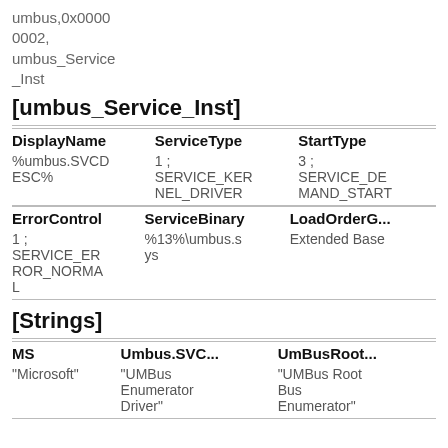umbus,0x00000002, umbus_Service_Inst
[umbus_Service_Inst]
| DisplayName | ServiceType | StartType |
| --- | --- | --- |
| %umbus.SVCDESC% | 1 ; SERVICE_KERNEL_DRIVER | 3 ; SERVICE_DEMAND_START |
| ErrorControl | ServiceBinary | LoadOrderG... |
| --- | --- | --- |
| 1 ; SERVICE_ERROR_NORMAL | %13%\umbus.sys | Extended Base |
[Strings]
| MS | Umbus.SVC... | UmBusRoot... |
| --- | --- | --- |
| "Microsoft" | "UMBus Enumerator Driver" | "UMBus Root Bus Enumerator" |